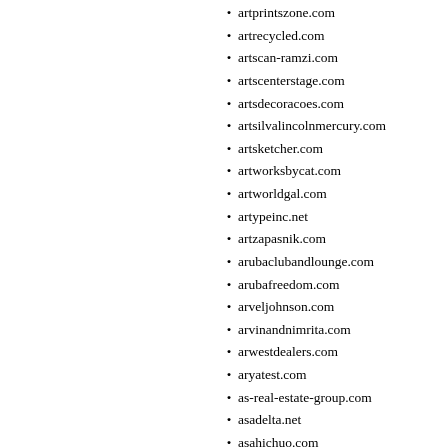artprintszone.com
artrecycled.com
artscan-ramzi.com
artscenterstage.com
artsdecoracoes.com
artsilvalincolnmercury.com
artsketcher.com
artworksbycat.com
artworldgal.com
artypeinc.net
artzapasnik.com
arubaclubandlounge.com
arubafreedom.com
arveljohnson.com
arvinandnimrita.com
arwestdealers.com
aryatest.com
as-real-estate-group.com
asadelta.net
asahichuo.com
asainbukake.com
asalonabove.com
asampedas2u.com
asapmarketinginc.com
asapmarketingnc.com
asapproducts.net
asasouthlatemodel.com
asassainsx.com